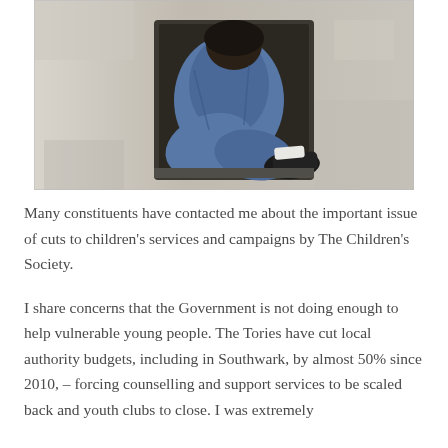[Figure (photo): A person in denim jacket and jeans sitting curled up in a doorway/window alcove with worn stone walls, wearing black sneakers]
Many constituents have contacted me about the important issue of cuts to children's services and campaigns by The Children's Society.
I share concerns that the Government is not doing enough to help vulnerable young people. The Tories have cut local authority budgets, including in Southwark, by almost 50% since 2010, – forcing counselling and support services to be scaled back and youth clubs to close. I was extremely